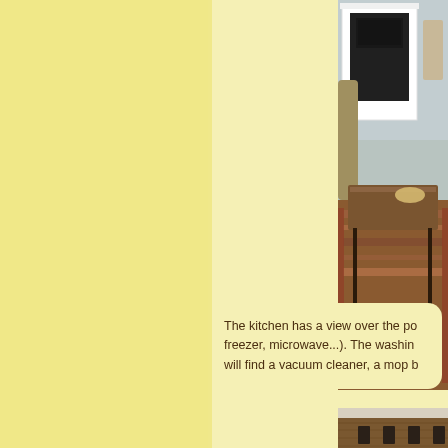[Figure (photo): Interior room photo showing a fireplace with white frame, a wooden coffee table with dark legs on a patterned rug, and a chair in the background. Light blue/gray walls visible.]
The kitchen has a view over the po... freezer, microwave...). The washin... will find a vacuum cleaner, a mop b...
[Figure (photo): Interior photo showing wooden furniture, appears to be bedroom or living area with wooden headboard or cabinet with decorative ironwork detail.]